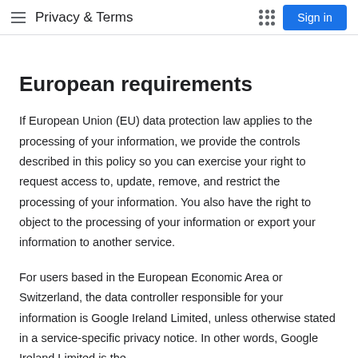Privacy & Terms
European requirements
If European Union (EU) data protection law applies to the processing of your information, we provide the controls described in this policy so you can exercise your right to request access to, update, remove, and restrict the processing of your information. You also have the right to object to the processing of your information or export your information to another service.
For users based in the European Economic Area or Switzerland, the data controller responsible for your information is Google Ireland Limited, unless otherwise stated in a service-specific privacy notice. In other words, Google Ireland Limited is the